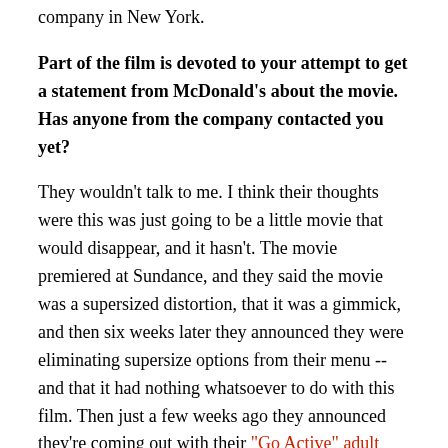company in New York.
Part of the film is devoted to your attempt to get a statement from McDonald's about the movie. Has anyone from the company contacted you yet?
They wouldn't talk to me. I think their thoughts were this was just going to be a little movie that would disappear, and it hasn't. The movie premiered at Sundance, and they said the movie was a supersized distortion, that it was a gimmick, and then six weeks later they announced they were eliminating supersize options from their menu -- and that it had nothing whatsoever to do with this film. Then just a few weeks ago they announced they're coming out with their "Go Active" adult happy meals on May 6. And when does